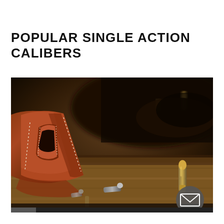POPULAR SINGLE ACTION CALIBERS
[Figure (photo): Close-up photograph of a brown leather gun holster with white stitching on a wooden surface, with several bullets/cartridges visible in the background, dark and moody lighting]